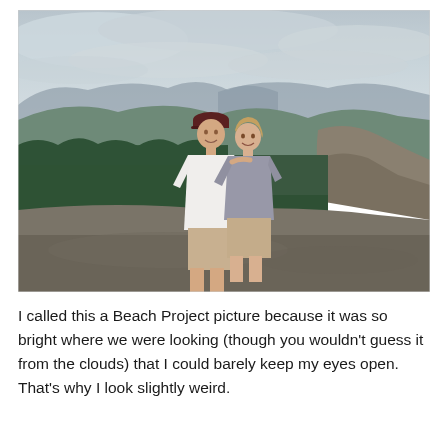[Figure (photo): Two people (a man in a white t-shirt and dark red cap, and a woman in a gray t-shirt) standing on a rocky overlook with their arms around each other, smiling. The background shows a vast mountainous landscape covered in dense green forest under an overcast, cloudy sky.]
I called this a Beach Project picture because it was so bright where we were looking (though you wouldn't guess it from the clouds) that I could barely keep my eyes open. That's why I look slightly weird.